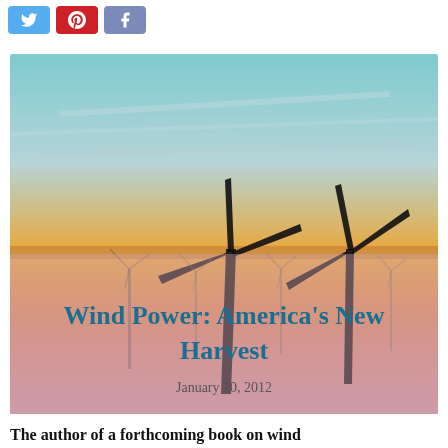[Figure (other): Social media share buttons: Twitter (blue bird icon), Pinterest (red P icon), Facebook (blue-gray f icon)]
[Figure (photo): Wind turbines silhouetted against a vivid sunset sky with orange and blue gradients, with a field of wind turbines fading into the distance. Overlaid text reads: Wind Power: America's New Harvest / January 10, 2012]
Wind Power: America's New Harvest
January 10, 2012
The author of a forthcoming book on wind power looks at the promise and pitfalls of